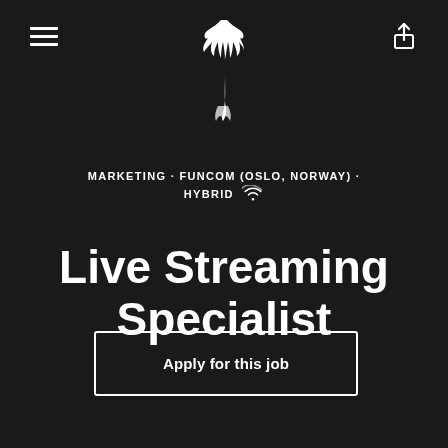[Figure (logo): Funcom white deer/stag logo centered at top]
MARKETING · FUNCOM (OSLO, NORWAY) · HYBRID
Live Streaming Specialist
Apply for this job